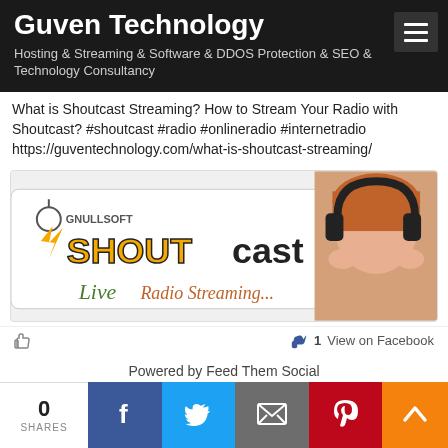Guven Technology
Hosting & Streaming & Software & DDOS Protection & SEO & Technology Consultancy
What is Shoutcast Streaming? How to Stream Your Radio with Shoutcast? #shoutcast #radio #onlineradio #internetradio https://guventechnology.com/what-is-shoutcast-streaming/
[Figure (screenshot): Nullsoft SHOUTcast Live Radio Streaming banner with a woman wearing headphones on the right side]
1  View on Facebook
Powered by Feed Them Social
0 SHARES